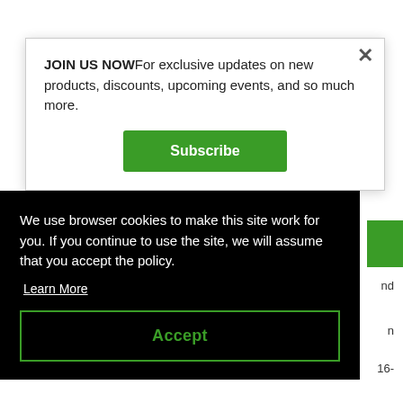JOIN US NOWFor exclusive updates on new products, discounts, upcoming events, and so much more.
[Figure (other): Subscribe button (green) inside modal popup]
with Tet-Inducible U6 Promoter (linearized, ready-
[Figure (logo): Cellecta snowflake logo and product label text including Cat# WCRS6718-L, Store at -20C, For in vitro or laboratory research use only]
We use browser cookies to make this site work for you. If you continue to use the site, we will assume that you accept the policy.
Learn More
Accept
nd
n
16-